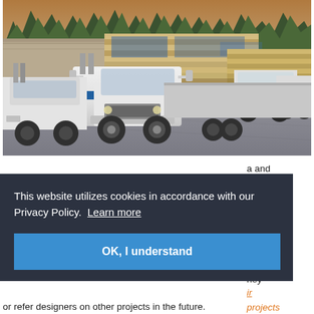[Figure (photo): Fleet of white flatbed semi-trucks loaded with stacked building materials (lumber/panels) parked in a large lot, with a warehouse and trees in the background under a hazy sky.]
a and
good
have
This website utilizes cookies in accordance with our Privacy Policy.  Learn more
OK, I understand
hey
ir projects
or refer designers on other projects in the future.